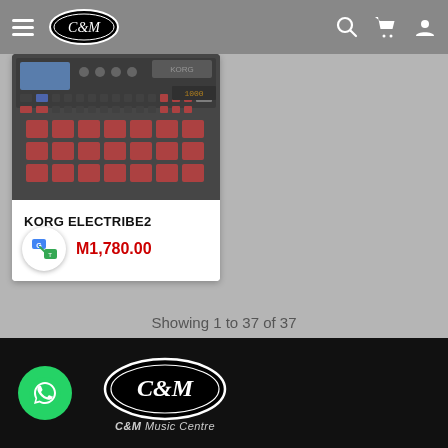[Figure (screenshot): Website header with hamburger menu, C&M logo oval, product image of Korg Electribe2 synthesizer, search icon, cart icon, and user icon]
KORG ELECTRIBE2
M1,780.00
Showing 1 to 37 of 37
[Figure (logo): C&M Music Centre logo in white oval with 'C&M Music Centre' text below]
[Figure (logo): WhatsApp green circle button icon]